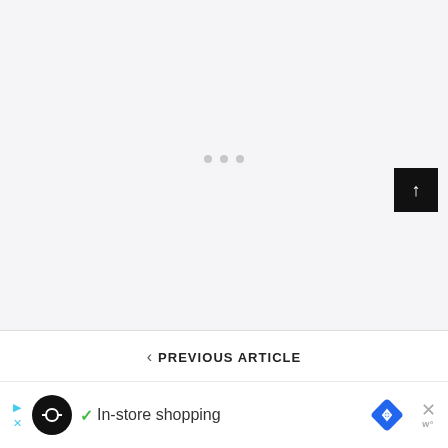[Figure (other): Large light gray content area with three small gray dots centered, indicating loading or placeholder state. A black back-to-top button with white upward arrow appears in lower right.]
< PREVIOUS ARTICLE
[Figure (other): Advertisement bar at bottom: play/X icons on left, black circle logo with infinity-like icon, green checkmark, 'In-store shopping' text, blue diamond navigation icon, and gray X close button with 'get' and 'w°' partially visible on right side.]